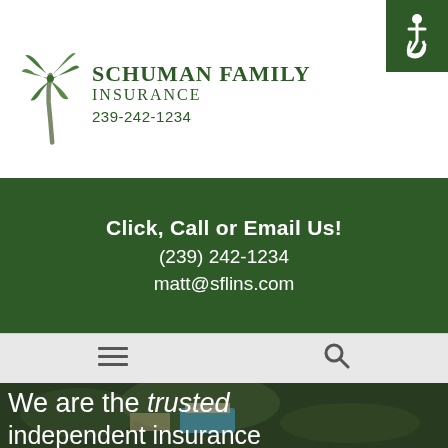[Figure (logo): Schuman Family Insurance logo with palm tree graphic]
239-242-1234
Click, Call or Email Us!
(239) 242-1234
matt@sflins.com
We are the trusted independent insurance